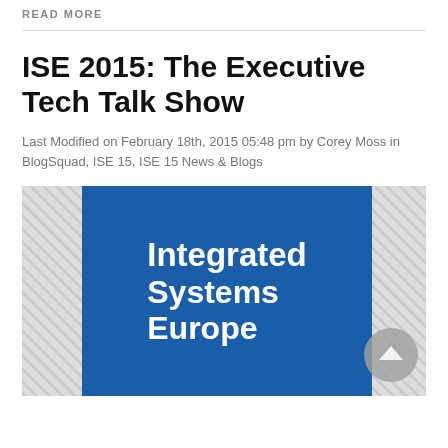READ MORE
ISE 2015: The Executive Tech Talk Show
Last Modified on February 18th, 2015 05:48 pm by Corey Moss in BlogSquad, ISE 15, ISE 15 News & Blogs
[Figure (logo): Integrated Systems Europe logo on blue background with diagonal hatching border]